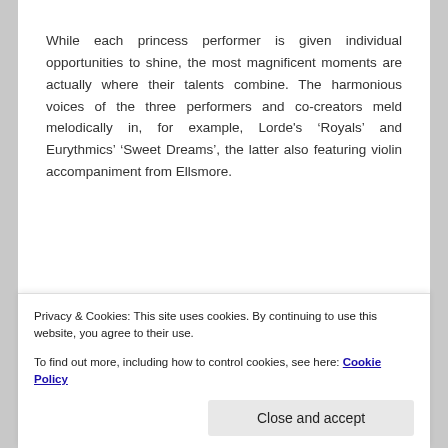While each princess performer is given individual opportunities to shine, the most magnificent moments are actually where their talents combine. The harmonious voices of the three performers and co-creators meld melodically in, for example, Lorde's ‘Royals’ and Eurythmics’ ‘Sweet Dreams’, the latter also featuring violin accompaniment from Ellsmore.
[Figure (photo): A partially visible image with a black rectangle at the top, shown inside a bordered container.]
Privacy & Cookies: This site uses cookies. By continuing to use this website, you agree to their use.
To find out more, including how to control cookies, see here: Cookie Policy